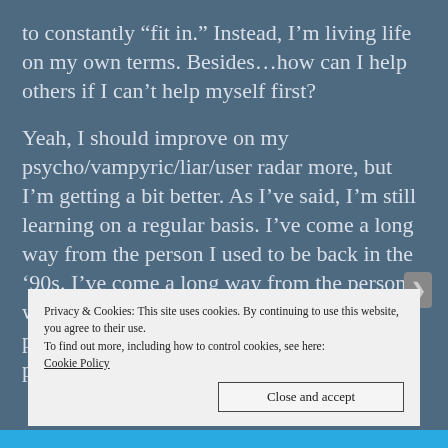to constantly “fit in.” Instead, I’m living life on my own terms. Besides…how can I help others if I can’t help myself first?
Yeah, I should improve on my psycho/vampyric/liar/user radar more, but I’m getting a bit better. As I’ve said, I’m still learning on a regular basis. I’ve come a long way from the person I used to be back in the ’90s. I’ve come a long way from the person I was from back in the early 2000s. Quite possibly, I might be a completely different person in another ten years.
Privacy & Cookies: This site uses cookies. By continuing to use this website, you agree to their use.
To find out more, including how to control cookies, see here:
Cookie Policy
Close and accept